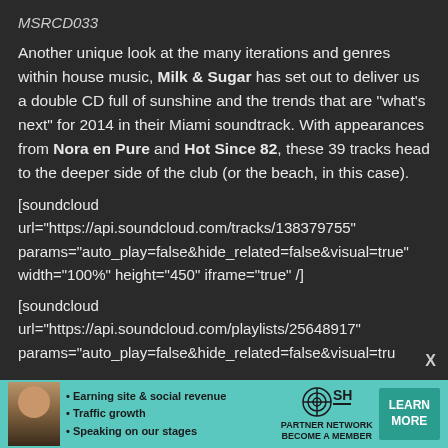MSRCD033
Another unique look at the many iterations and genres within house music, Milk & Sugar has set out to deliver us a double CD full of sunshine and the trends that are "what's next" for 2014 in their Miami soundtrack. With appearances from Nora en Pure and Hot Since 82, these 39 tracks head to the deeper side of the club (or the beach, in this case).
[soundcloud url="https://api.soundcloud.com/tracks/138379755" params="auto_play=false&hide_related=false&visual=true" width="100%" height="450" iframe="true" /]
[soundcloud url="https://api.soundcloud.com/playlists/25648917" params="auto_play=false&hide_related=false&visual=tru
[Figure (infographic): SHE Media Partner Network advertisement banner with woman photo, bullet points about earning site & social revenue, traffic growth, speaking on stages, SHE logo, and LEARN MORE button]